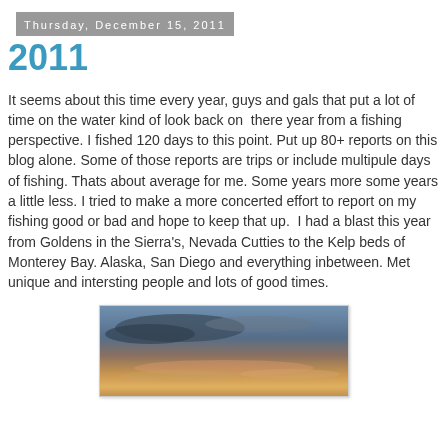Thursday, December 15, 2011
2011
It seems about this time every year, guys and gals that put a lot of time on the water kind of look back on  there year from a fishing perspective. I fished 120 days to this point. Put up 80+ reports on this blog alone. Some of those reports are trips or include multipule days of fishing. Thats about average for me. Some years more some years a little less. I tried to make a more concerted effort to report on my fishing good or bad and hope to keep that up.  I had a blast this year from Goldens in the Sierra's, Nevada Cutties to the Kelp beds of Monterey Bay. Alaska, San Diego and everything inbetween. Met unique and intersting people and lots of good times.
[Figure (photo): Sunset or sunrise sky photo with orange and purple clouds over water, partially visible at bottom of page]